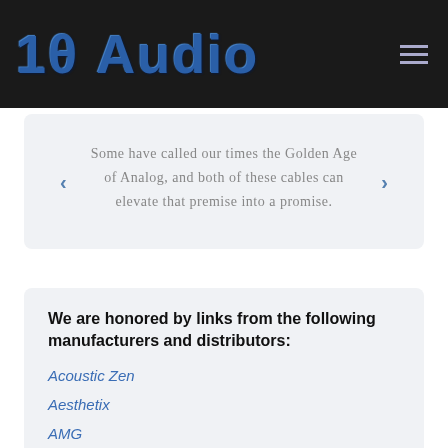10 Audio
Some have called our times the Golden Age of Analog, and both of these cables can elevate that premise into a promise.
We are honored by links from the following manufacturers and distributors:
Acoustic Zen
Aesthetix
AMG